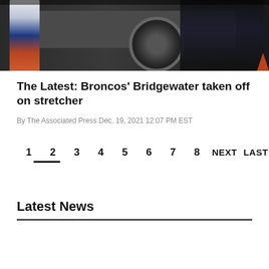[Figure (photo): Sports photo showing a football player in blue and orange uniform being assisted near a vehicle, with other people visible in the background]
The Latest: Broncos' Bridgewater taken off on stretcher
By The Associated Press Dec. 19, 2021 12:07 PM EST
1 2 3 4 5 6 7 8 NEXT LAST
Latest News